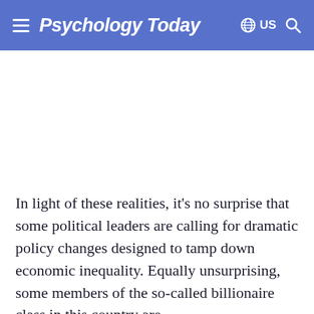Psychology Today — US
In light of these realities, it’s no surprise that some political leaders are calling for dramatic policy changes designed to tamp down economic inequality. Equally unsurprising, some members of the so-called billionaire class in this country are